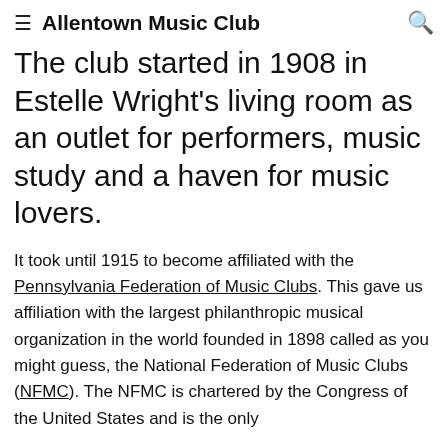≡  Allentown Music Club  🔍
The club started in 1908 in Estelle Wright's living room as an outlet for performers, music study and a haven for music lovers.
It took until 1915 to become affiliated with the Pennsylvania Federation of Music Clubs. This gave us affiliation with the largest philanthropic musical organization in the world founded in 1898 called as you might guess, the National Federation of Music Clubs (NFMC). The NFMC is chartered by the Congress of the United States and is the only